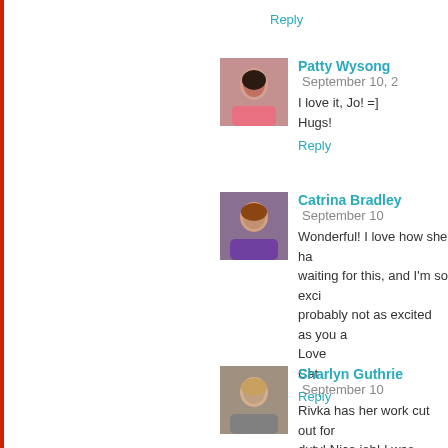Reply
Patty Wysong  September 10, 2...
I love it, Jo! =]
Hugs!
Reply
Catrina Bradley  September 10...
Wonderful! I love how she ha... waiting for this, and I'm so exci... probably not as excited as you a...
Love
Cat
Reply
Sharlyn Guthrie  September 10...
Rivka has her work cut out for... duty! Nice job! I was transported...